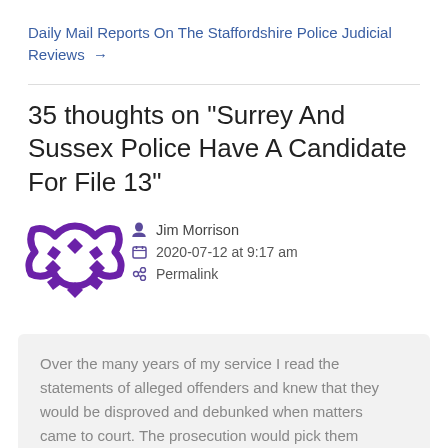Daily Mail Reports On The Staffordshire Police Judicial Reviews →
35 thoughts on “Surrey And Sussex Police Have A Candidate For File 13”
[Figure (illustration): Purple decorative avatar/avatar placeholder icon — ornate circular geometric shape in purple]
Jim Morrison
2020-07-12 at 9:17 am
Permalink
Over the many years of my service I read the statements of alleged offenders and knew that they would be disproved and debunked when matters came to court. The prosecution would pick them apart line by line and expose all the lies, misleading ‘facts’ and misinformation.
Those prosecutors would feel an immediate sense of